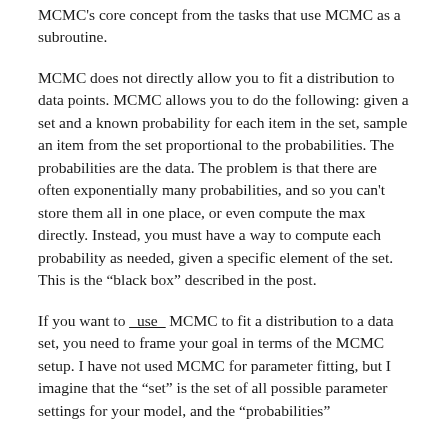MCMC's core concept from the tasks that use MCMC as a subroutine.
MCMC does not directly allow you to fit a distribution to data points. MCMC allows you to do the following: given a set and a known probability for each item in the set, sample an item from the set proportional to the probabilities. The probabilities are the data. The problem is that there are often exponentially many probabilities, and so you can't store them all in one place, or even compute the max directly. Instead, you must have a way to compute each probability as needed, given a specific element of the set. This is the “black box” described in the post.
If you want to _use_ MCMC to fit a distribution to a data set, you need to frame your goal in terms of the MCMC setup. I have not used MCMC for parameter fitting, but I imagine that the “set” is the set of all possible parameter settings for your model, and the “probabilities”